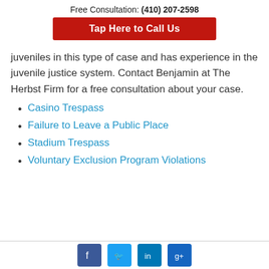Free Consultation: (410) 207-2598
Tap Here to Call Us
juveniles in this type of case and has experience in the juvenile justice system. Contact Benjamin at The Herbst Firm for a free consultation about your case.
Casino Trespass
Failure to Leave a Public Place
Stadium Trespass
Voluntary Exclusion Program Violations